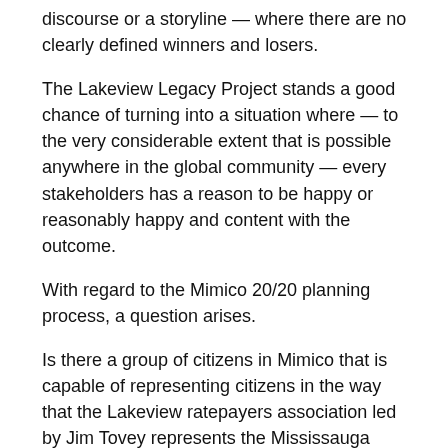discourse or a storyline — where there are no clearly defined winners and losers.
The Lakeview Legacy Project stands a good chance of turning into a situation where — to the very considerable extent that is possible anywhere in the global community — every stakeholders has a reason to be happy or reasonably happy and content with the outcome.
With regard to the Mimico 20/20 planning process, a question arises.
Is there a group of citizens in Mimico that is capable of representing citizens in the way that the Lakeview ratepayers association led by Jim Tovey represents the Mississauga citizens involved with Lakeview? I don't know the answer.
With regard to Long Branch, where I live, I'm aware of a well-organized ratepayers group, led by a strong